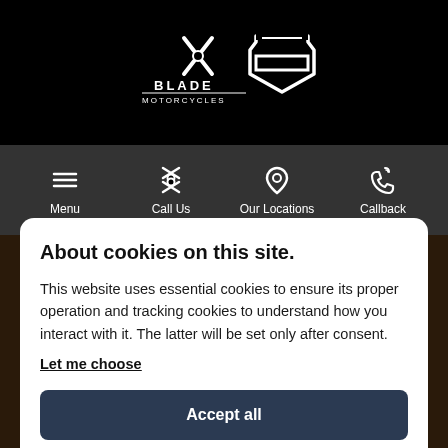[Figure (logo): Blade Motorcycles and Harley-Davidson logos in white on black background]
[Figure (infographic): Navigation bar with Menu, Call Us, Our Locations, and Callback icons in white on dark grey background with orange bottom border]
About cookies on this site.
This website uses essential cookies to ensure its proper operation and tracking cookies to understand how you interact with it. The latter will be set only after consent.
Let me choose
Accept all
Reject all